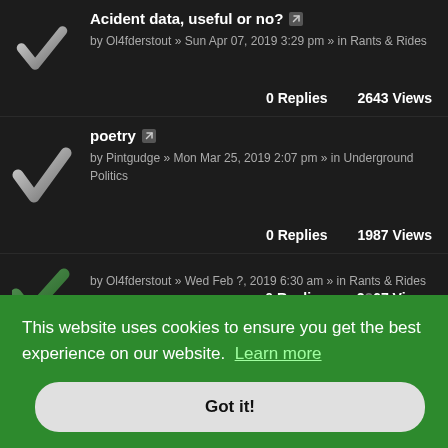Acident data, useful or no?
by Ol4fderstout » Sun Apr 07, 2019 3:29 pm » in Rants & Rides
0 Replies    2643 Views
poetry
by Pintgudge » Mon Mar 25, 2019 2:07 pm » in Underground Politics
0 Replies    1987 Views
by Ol4fderstout » Wed Feb ?, 2019 6:30 am » in Rants & Rides
0 Replies    2?67 Views
This website uses cookies to ensure you get the best experience on our website.  Learn more
Got it!